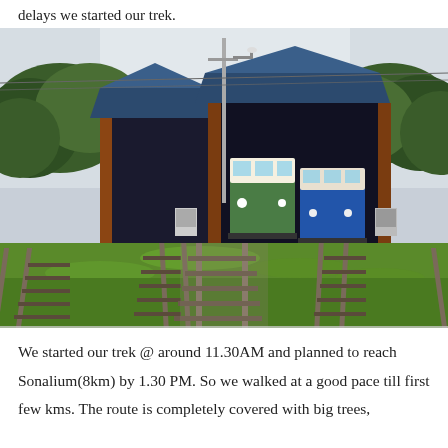delays we started our trek.
[Figure (photo): Railway station with two trains parked under a large shed with blue roof, surrounded by green grass and multiple railway tracks in the foreground, trees on both sides, overcast sky.]
We started our trek @ around 11.30AM and planned to reach Sonalium(8km) by 1.30 PM. So we walked at a good pace till first few kms. The route is completely covered with big trees,